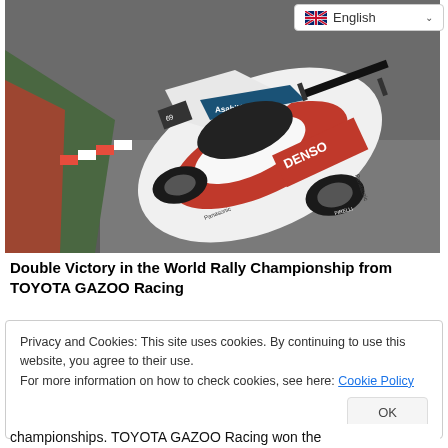[Figure (photo): Toyota GAZOO Racing WRC rally car, white and red livery with DENSO and AsahiKASEI sponsors, seen from above on a rally stage corner]
Double Victory in the World Rally Championship from TOYOTA GAZOO Racing
Privacy and Cookies: This site uses cookies. By continuing to use this website, you agree to their use.
For more information on how to check cookies, see here: Cookie Policy
championships. TOYOTA GAZOO Racing won the